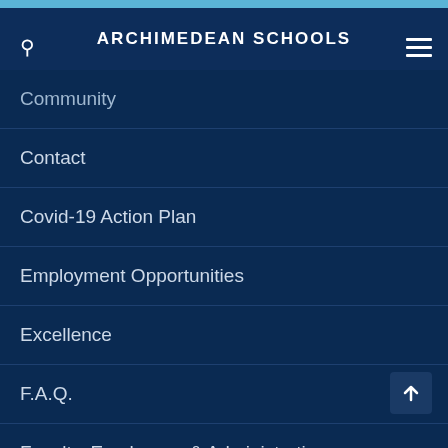ARCHIMEDEAN SCHOOLS
Community
Contact
Covid-19 Action Plan
Employment Opportunities
Excellence
F.A.Q.
Faculty, Employees & Administration
Fundraising
Home Page